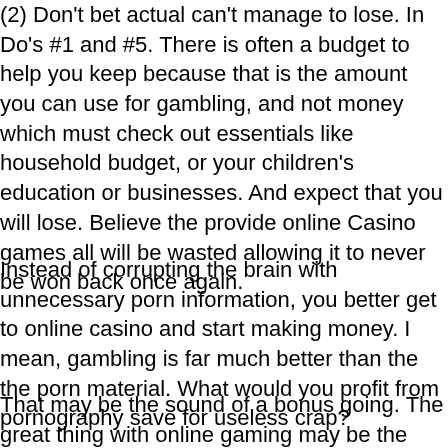(2) Don't bet actual can't manage to lose. In Do's #1 and #5. There is often a budget to help you keep because that is the amount you can use for gambling, and not money which must check out essentials like household budget, or your children's education or businesses. And expect that you will lose. Believe the provide online Casino games all will be wasted allowing it to never be won back once again.
Instead of corrupting the brain with unnecessary porn information, you better get to online casino and start making money. I mean, gambling is far much better than the the porn material. What would you profit from pornography save for useless crap?
That may be the sound of a bonus going. The great thing with online gaming may be the there are so